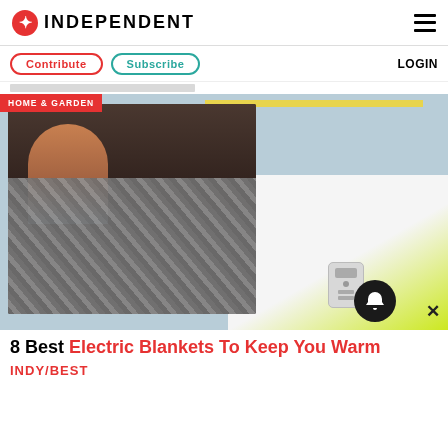INDEPENDENT
Contribute  Subscribe  LOGIN
[Figure (photo): Hero image showing a woman wrapped in a chevron-patterned grey electric blanket on a dark sofa, with an electric blanket and remote control on the right side, on a light blue background. Category label 'HOME & GARDEN' in red top-left.]
8 Best Electric Blankets To Keep You Warm
INDY/BEST